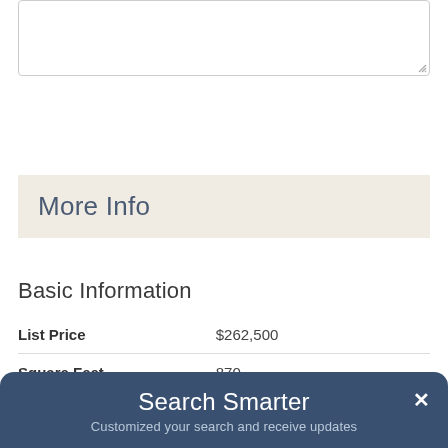[Figure (screenshot): Text area input box with resize handle]
Send
More Info
Basic Information
|  |  |
| --- | --- |
| List Price | $262,500 |
| Square Feet | 870 |
Search Smarter
Customized your search and receive updates